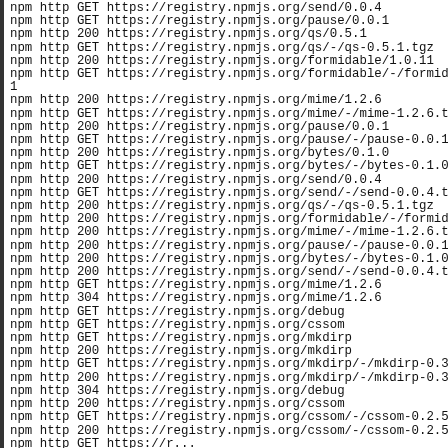npm http GET https://registry.npmjs.org/send/0.0.4
npm http GET https://registry.npmjs.org/pause/0.0.1
npm http 200 https://registry.npmjs.org/qs/0.5.1
npm http GET https://registry.npmjs.org/qs/-/qs-0.5.1.tgz
npm http 200 https://registry.npmjs.org/formidable/1.0.11
npm http GET https://registry.npmjs.org/formidable/-/formidable-1
npm http 200 https://registry.npmjs.org/mime/1.2.6
npm http GET https://registry.npmjs.org/mime/-/mime-1.2.6.tgz
npm http 200 https://registry.npmjs.org/pause/0.0.1
npm http GET https://registry.npmjs.org/pause/-/pause-0.0.1.tgz
npm http 200 https://registry.npmjs.org/bytes/0.1.0
npm http GET https://registry.npmjs.org/bytes/-/bytes-0.1.0.tgz
npm http 200 https://registry.npmjs.org/send/0.0.4
npm http GET https://registry.npmjs.org/send/-/send-0.0.4.tgz
npm http 200 https://registry.npmjs.org/qs/-/qs-0.5.1.tgz
npm http 200 https://registry.npmjs.org/formidable/-/formidable-1
npm http 200 https://registry.npmjs.org/mime/-/mime-1.2.6.tgz
npm http 200 https://registry.npmjs.org/pause/-/pause-0.0.1.tgz
npm http 200 https://registry.npmjs.org/bytes/-/bytes-0.1.0.tgz
npm http 200 https://registry.npmjs.org/send/-/send-0.0.4.tgz
npm http GET https://registry.npmjs.org/mime/1.2.6
npm http 304 https://registry.npmjs.org/mime/1.2.6
npm http GET https://registry.npmjs.org/debug
npm http GET https://registry.npmjs.org/cssom
npm http GET https://registry.npmjs.org/mkdirp
npm http 200 https://registry.npmjs.org/mkdirp
npm http GET https://registry.npmjs.org/mkdirp/-/mkdirp-0.3.4.tgz
npm http 200 https://registry.npmjs.org/mkdirp/-/mkdirp-0.3.4.tgz
npm http 304 https://registry.npmjs.org/debug
npm http 200 https://registry.npmjs.org/cssom
npm http GET https://registry.npmjs.org/cssom/-/cssom-0.2.5.tgz
npm http 200 https://registry.npmjs.org/cssom/-/cssom-0.2.5.tgz
npm http GET https://r...